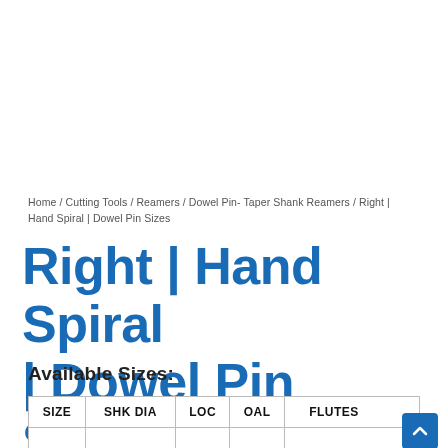Home / Cutting Tools / Reamers / Dowel Pin- Taper Shank Reamers / Right | Hand Spiral | Dowel Pin Sizes
Right | Hand Spiral | Dowel Pin Sizes
Available Sizes:
| SIZE | SHK DIA | LOC | OAL | FLUTES |
| --- | --- | --- | --- | --- |
|  |  |  |  |  |